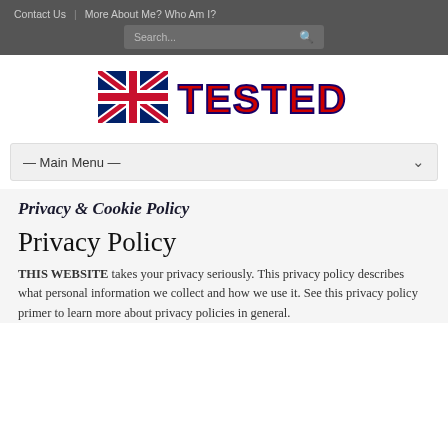Contact Us | More About Me? Who Am I?
[Figure (logo): Tested in UK logo with UK flag and stylized bold text reading TESTED iN UK in red/blue colors]
— Main Menu —
Privacy & Cookie Policy
Privacy Policy
THIS WEBSITE takes your privacy seriously. This privacy policy describes what personal information we collect and how we use it. See this privacy policy primer to learn more about privacy policies in general.